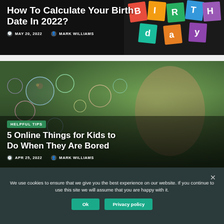How To Calculate Your Birth Date In 2022?
MAY 20, 2022   MARK WILLIAMS
[Figure (photo): Child blowing bubbles outdoors with colorful soap bubbles in foreground]
HELPFUL TIPS
5 Online Things for Kids to Do When They Are Bored
APR 25, 2022   MARK WILLIAMS
We use cookies to ensure that we give you the best experience on our website. If you continue to use this site we will assume that you are happy with it.
Ok   Privacy policy